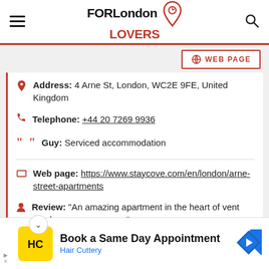FORLondon LOVERS
WEB PAGE
Address: 4 Arne St, London, WC2E 9FE, United Kingdom
Telephone: +44 20 7269 9936
Guy: Serviced accommodation
Web page: https://www.staycove.com/en/london/arne-street-apartments
Review: "An amazing apartment in the heart of vent Garden, easy access ..."
[Figure (other): Advertisement banner for Hair Cuttery: Book a Same Day Appointment]